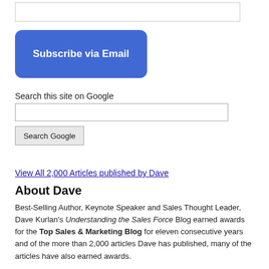Subscribe via Email
Search this site on Google
Search Google
View All 2,000 Articles published by Dave
About Dave
Best-Selling Author, Keynote Speaker and Sales Thought Leader, Dave Kurlan's Understanding the Sales Force Blog earned awards for the Top Sales & Marketing Blog for eleven consecutive years and of the more than 2,000 articles Dave has published, many of the articles have also earned awards.